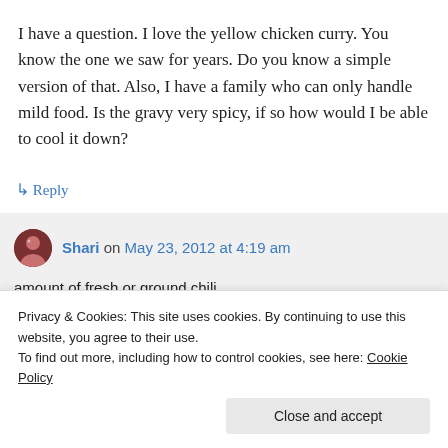I have a question. I love the yellow chicken curry. You know the one we saw for years. Do you know a simple version of that. Also, I have a family who can only handle mild food. Is the gravy very spicy, if so how would I be able to cool it down?
↳ Reply
Shari on May 23, 2012 at 4:19 am
amount of fresh or ground chili.
Privacy & Cookies: This site uses cookies. By continuing to use this website, you agree to their use.
To find out more, including how to control cookies, see here: Cookie Policy
Close and accept